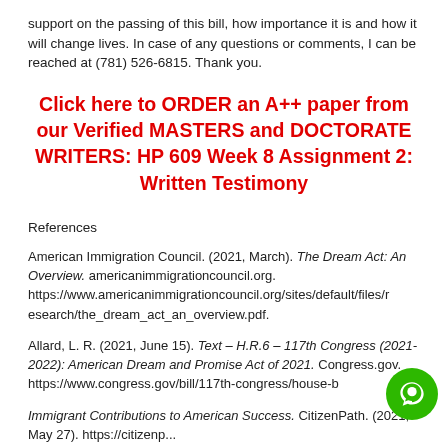support on the passing of this bill, how importance it is and how it will change lives. In case of any questions or comments, I can be reached at (781) 526-6815. Thank you.
Click here to ORDER an A++ paper from our Verified MASTERS and DOCTORATE WRITERS: HP 609 Week 8 Assignment 2: Written Testimony
References
American Immigration Council. (2021, March). The Dream Act: An Overview. americanimmigrationcouncil.org. https://www.americanimmigrationcouncil.org/sites/default/files/research/the_dream_act_an_overview.pdf.
Allard, L. R. (2021, June 15). Text – H.R.6 – 117th Congress (2021-2022): American Dream and Promise Act of 2021. Congress.gov. https://www.congress.gov/bill/117th-congress/house-b
Immigrant Contributions to American Success. CitizenPath. (2021, May 27). https://citizenpath.com/immigrant-contributions-to-american-success/